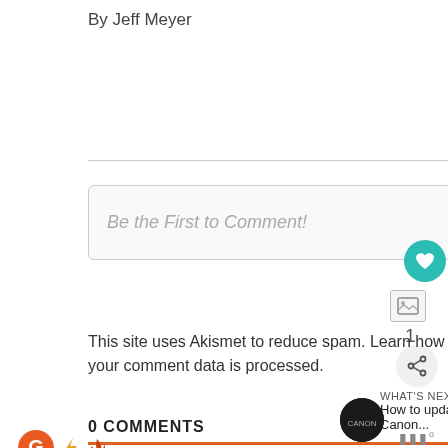By Jeff Meyer
Be the First to Comment!
This site uses Akismet to reduce spam. Learn how your comment data is processed.
0 COMMENTS
WHAT'S NEXT → How to update Canon...
KINDNESS IS CONTAGIOUS PASS IT ON